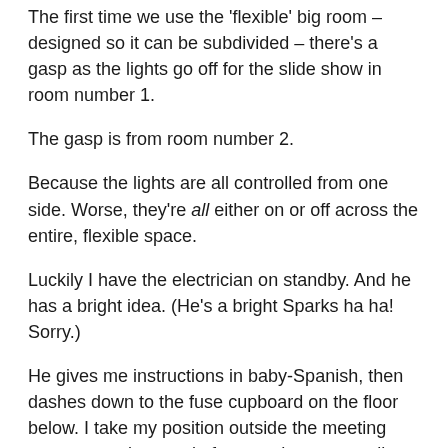The first time we use the 'flexible' big room – designed so it can be subdivided – there's a gasp as the lights go off for the slide show in room number 1.
The gasp is from room number 2.
Because the lights are all controlled from one side. Worse, they're all either on or off across the entire, flexible space.
Luckily I have the electrician on standby. And he has a bright idea. (He's a bright Sparks ha ha! Sorry.)
He gives me instructions in baby-Spanish, then dashes down to the fuse cupboard on the floor below. I take my position outside the meeting rooms, appoint people from each room to tell me when the lights should be off.
A volunteer stands at the top of the stairs, another at the bottom.